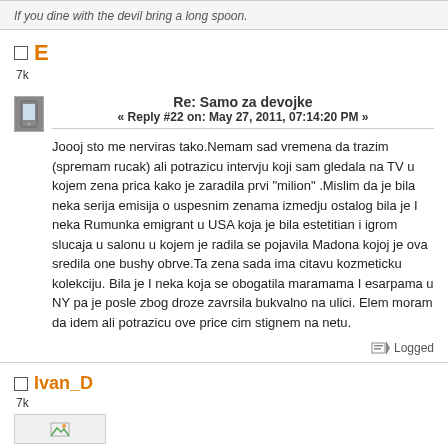If you dine with the devil bring a long spoon.
E
7k
Re: Samo za devojke
« Reply #22 on: May 27, 2011, 07:14:20 PM »
Joooj sto me nerviras tako.Nemam sad vremena da trazim (spremam rucak) ali potrazicu intervju koji sam gledala na TV u kojem zena prica kako je zaradila prvi "milion" .Mislim da je bila neka serija emisija o uspesnim zenama izmedju ostalog bila je I neka Rumunka emigrant u USA koja je bila estetitian i igrom slucaja u salonu u kojem je radila se pojavila Madona kojoj je ova sredila one bushy obrve.Ta zena sada ima citavu kozmeticku kolekciju. Bila je I neka koja se obogatila maramama I esarpama u NY pa je posle zbog droze zavrsila bukvalno na ulici. Elem moram da idem ali potrazicu ove price cim stignem na netu.
Logged
Ivan_D
7k